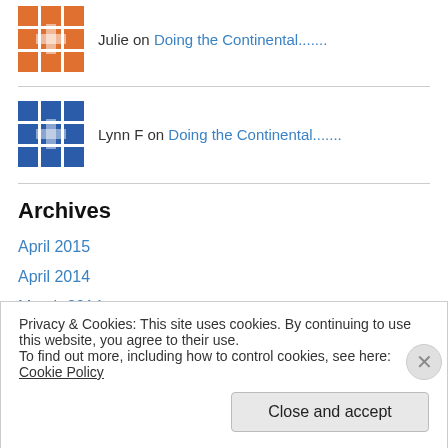Julie on Doing the Continental.......
Lynn F on Doing the Continental.......
Archives
April 2015
April 2014
March 2014
August 2013
May 2013
Privacy & Cookies: This site uses cookies. By continuing to use this website, you agree to their use.
To find out more, including how to control cookies, see here: Cookie Policy
Close and accept